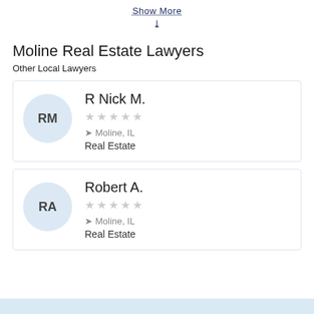Show More
Moline Real Estate Lawyers
Other Local Lawyers
R Nick M. | Moline, IL | Real Estate
Robert A. | Moline, IL | Real Estate